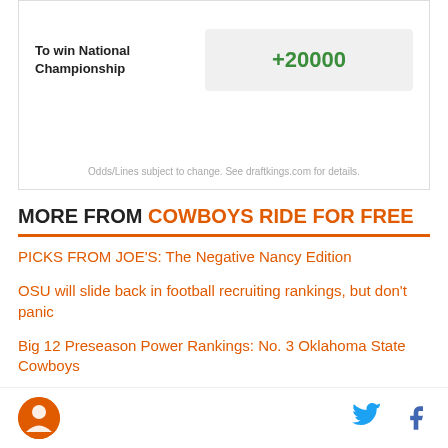|  | Odds |
| --- | --- |
| To win National Championship | +20000 |
Odds/Lines subject to change. See draftkings.com for details.
MORE FROM COWBOYS RIDE FOR FREE
PICKS FROM JOE'S: The Negative Nancy Edition
OSU will slide back in football recruiting rankings, but don't panic
Big 12 Preseason Power Rankings: No. 3 Oklahoma State Cowboys